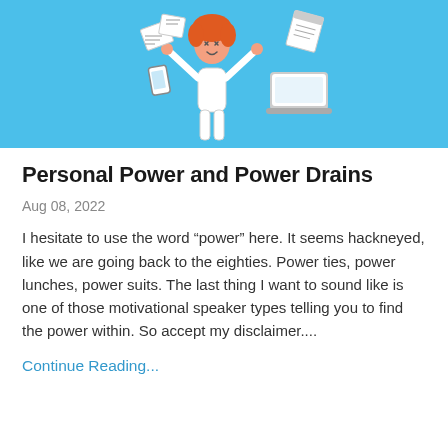[Figure (illustration): Illustration of a stressed woman with red hair holding her head in her hands, surrounded by flying papers, a smartphone, and a laptop, on a bright blue background.]
Personal Power and Power Drains
Aug 08, 2022
I hesitate to use the word “power” here. It seems hackneyed, like we are going back to the eighties. Power ties, power lunches, power suits. The last thing I want to sound like is one of those motivational speaker types telling you to find the power within. So accept my disclaimer....
Continue Reading...